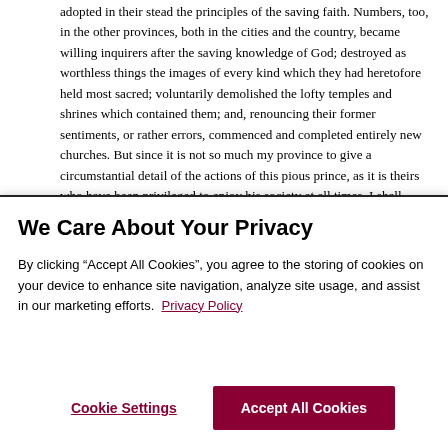adopted in their stead the principles of the saving faith. Numbers, too, in the other provinces, both in the cities and the country, became willing inquirers after the saving knowledge of God; destroyed as worthless things the images of every kind which they had heretofore held most sacred; voluntarily demolished the lofty temples and shrines which contained them; and, renouncing their former sentiments, or rather errors, commenced and completed entirely new churches. But since it is not so much my province to give a circumstantial detail of the actions of this pious prince, as it is theirs who have been privileged to enjoy his society at all times, I shall content myself with briefly recording such facts as have come to my own personal knowledge, before I proceed to notice the last days of his life.
We Care About Your Privacy
By clicking “Accept All Cookies”, you agree to the storing of cookies on your device to enhance site navigation, analyze site usage, and assist in our marketing efforts. Privacy Policy